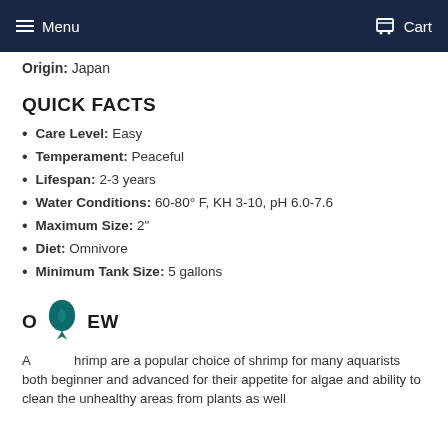Menu   Cart
Origin: Japan
QUICK FACTS
Care Level: Easy
Temperament: Peaceful
Lifespan: 2-3 years
Water Conditions: 60-80° F, KH 3-10, pH 6.0-7.6
Maximum Size: 2"
Diet: Omnivore
Minimum Tank Size: 5 gallons
OVERVIEW
Amano shrimp are a popular choice of shrimp for many aquarists both beginner and advanced for their appetite for algae and ability to clean the unhealthy areas from plants as well